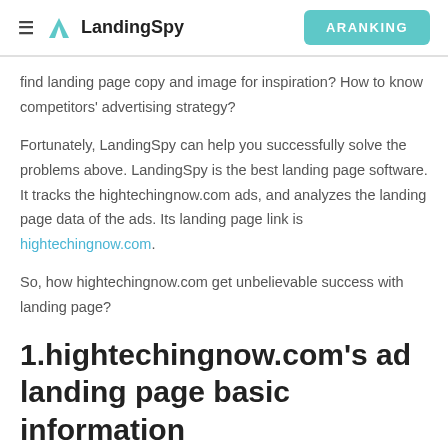LandingSpy | ARANKING
find landing page copy and image for inspiration? How to know competitors' advertising strategy?
Fortunately, LandingSpy can help you successfully solve the problems above. LandingSpy is the best landing page software. It tracks the hightechingnow.com ads, and analyzes the landing page data of the ads. Its landing page link is hightechingnow.com.
So, how hightechingnow.com get unbelievable success with landing page?
1.hightechingnow.com's ad landing page basic information
Landing Page Images: